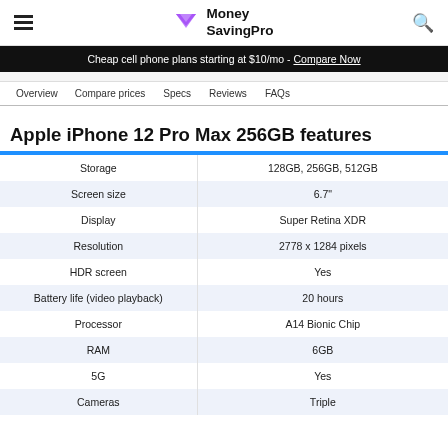Money SavingPro
Cheap cell phone plans starting at $10/mo - Compare Now
Overview   Compare prices   Specs   Reviews   FAQs
Apple iPhone 12 Pro Max 256GB features
|  |  |
| --- | --- |
| Storage | 128GB, 256GB, 512GB |
| Screen size | 6.7" |
| Display | Super Retina XDR |
| Resolution | 2778 x 1284 pixels |
| HDR screen | Yes |
| Battery life (video playback) | 20 hours |
| Processor | A14 Bionic Chip |
| RAM | 6GB |
| 5G | Yes |
| Cameras | Triple |